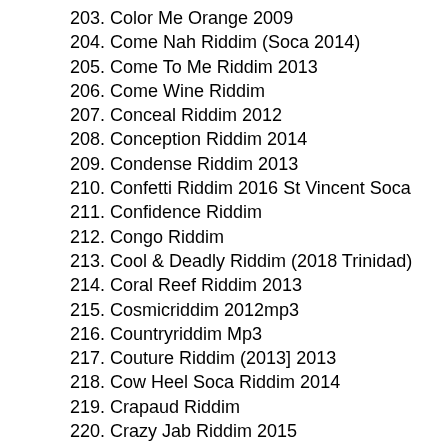203. Color Me Orange 2009
204. Come Nah Riddim (Soca 2014)
205. Come To Me Riddim 2013
206. Come Wine Riddim
207. Conceal Riddim 2012
208. Conception Riddim 2014
209. Condense Riddim 2013
210. Confetti Riddim 2016 St Vincent Soca
211. Confidence Riddim
212. Congo Riddim
213. Cool & Deadly Riddim (2018 Trinidad)
214. Coral Reef Riddim 2013
215. Cosmicriddim 2012mp3
216. Countryriddim Mp3
217. Couture Riddim (2013] 2013
218. Cow Heel Soca Riddim 2014
219. Crapaud Riddim
220. Crazy Jab Riddim 2015
221. Creole Christmas Riddim 2014